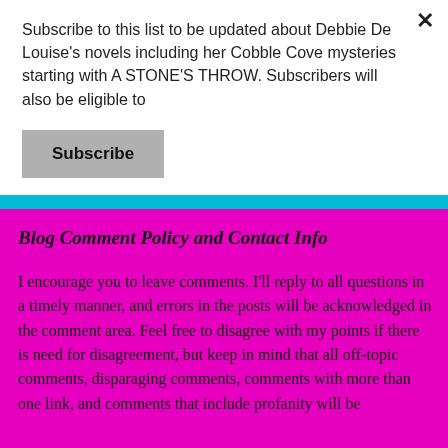Subscribe to this list to be updated about Debbie De Louise's novels including her Cobble Cove mysteries starting with A STONE'S THROW. Subscribers will also be eligible to
Subscribe
Blog Comment Policy and Contact Info
I encourage you to leave comments. I'll reply to all questions in a timely manner, and errors in the posts will be acknowledged in the comment area. Feel free to disagree with my points if there is need for disagreement, but keep in mind that all off-topic comments, disparaging comments, comments with more than one link, and comments that include profanity will be